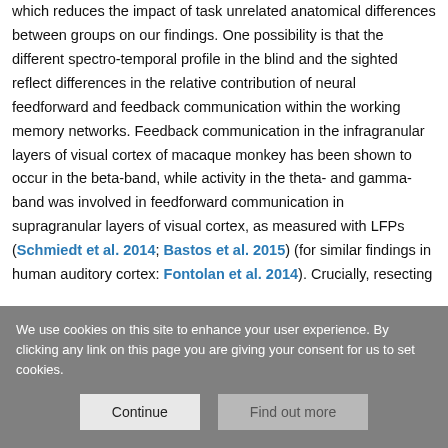which reduces the impact of task unrelated anatomical differences between groups on our findings. One possibility is that the different spectro-temporal profile in the blind and the sighted reflect differences in the relative contribution of neural feedforward and feedback communication within the working memory networks. Feedback communication in the infragranular layers of visual cortex of macaque monkey has been shown to occur in the beta-band, while activity in the theta- and gamma-band was involved in feedforward communication in supragranular layers of visual cortex, as measured with LFPs (Schmiedt et al. 2014; Bastos et al. 2015) (for similar findings in human auditory cortex: Fontolan et al. 2014). Crucially, resecting
We use cookies on this site to enhance your user experience. By clicking any link on this page you are giving your consent for us to set cookies.